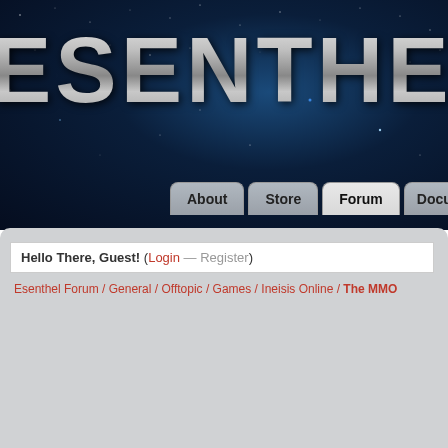[Figure (screenshot): Esenthel website header with dark starfield background and metallic logo text]
ESENTHEL — navigation: About, Store, Forum, Docu...
Hello There, Guest! (Login — Register)
Esenthel Forum / General / Offtopic / Games / Ineisis Online / The MMO
New Reply
| AUTHOR | MESSAGE |
| --- | --- |
| The MMO |  |
| Driklyn [icon] Member | RE: The MMO
You must be in Windowed mode, not Fullscre... |
| 06-16-2011 12:47 AM | Find |
| fatcoder [icon] Member | RE: The MMO
Come underground and get lost in the love... |